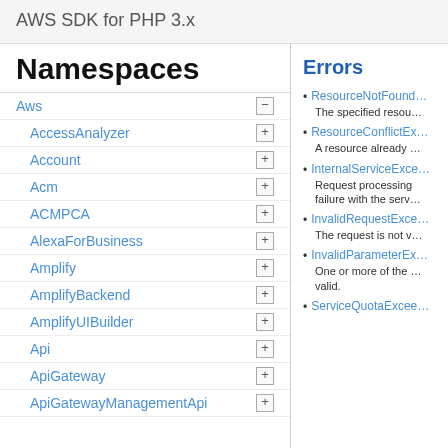AWS SDK for PHP 3.x
Namespaces
Aws
AccessAnalyzer
Account
Acm
ACMPCA
AlexaForBusiness
Amplify
AmplifyBackend
AmplifyUIBuilder
Api
ApiGateway
ApiGatewayManagementApi
Errors
ResourceNotFound…
The specified resou…
ResourceConflictEx…
A resource already …
InternalServiceExce…
Request processing failure with the serv…
InvalidRequestExce…
The request is not v…
InvalidParameterEx…
One or more of the … valid.
ServiceQuotaExcee…